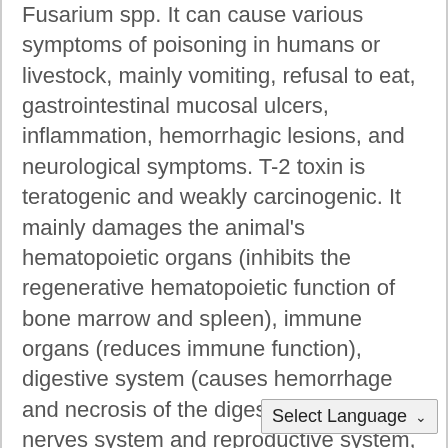Fusarium spp. It can cause various symptoms of poisoning in humans or livestock, mainly vomiting, refusal to eat, gastrointestinal mucosal ulcers, inflammation, hemorrhagic lesions, and neurological symptoms. T-2 toxin is teratogenic and weakly carcinogenic. It mainly damages the animal's hematopoietic organs (inhibits the regenerative hematopoietic function of bone marrow and spleen), immune organs (reduces immune function), digestive system (causes hemorrhage and necrosis of the digestive tract), and nerves system and reproductive system, etc.
It is an epithelial necrosis factor that can cause necrosis and ulceration of the